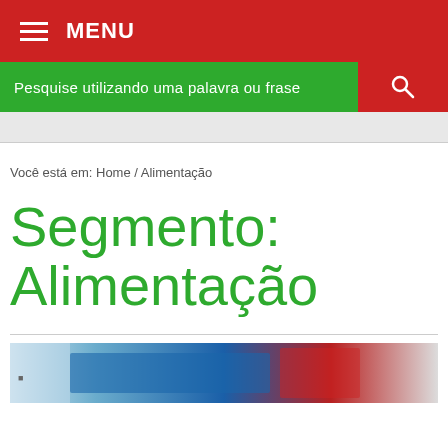MENU
Pesquise utilizando uma palavra ou frase
Você está em: Home / Alimentação
Segmento: Alimentação
[Figure (photo): Partial photo visible at bottom of page showing what appears to be a product or display with blue and red colors]